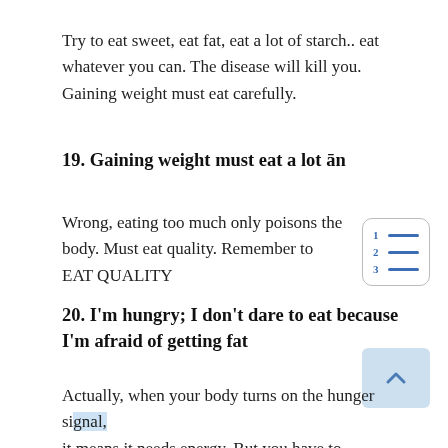Try to eat sweet, eat fat, eat a lot of starch.. eat whatever you can. The disease will kill you. Gaining weight must eat carefully.
19. Gaining weight must eat a lot ān
Wrong, eating too much only poisons the body. Must eat quality. Remember to EAT QUALITY
20. I'm hungry; I don't dare to eat because I'm afraid of getting fat
Actually, when your body turns on the hunger signal, it means it needs energy. But you have to distinguish between hunger and appetite. If you want to eat, you should find a way to skip it. If you are hungry, you